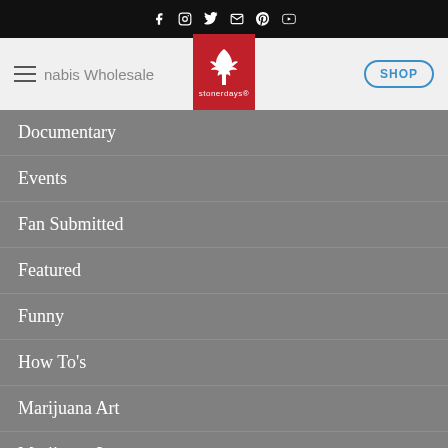StonerDays navigation header with social icons and logo
Documentary
Events
Fan Submitted
Featured
Funny
How To's
Marijuana Art
Marijuana Laws
Marijuana Strains
Music Videos